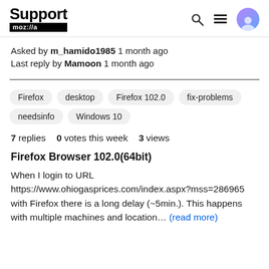Support mozilla://a
Asked by m_hamido1985 1 month ago
Last reply by Mamoon 1 month ago
Firefox
desktop
Firefox 102.0
fix-problems
needsinfo
Windows 10
7 replies   0 votes this week   3 views
Firefox Browser 102.0(64bit)
When I login to URL https://www.ohiogasprices.com/index.aspx?mss=286965 with Firefox there is a long delay (~5min.). This happens with multiple machines and location... (read more)